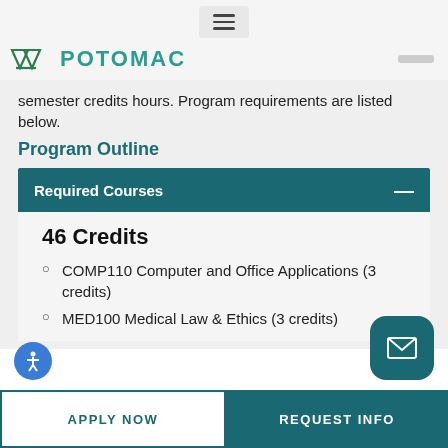[Figure (logo): Potomac university logo with green leaf/wing icon and teal POTOMAC text]
semester credits hours. Program requirements are listed below.
Program Outline
Required Courses
46 Credits
COMP110 Computer and Office Applications (3 credits)
MED100 Medical Law & Ethics (3 credits)
APPLY NOW
REQUEST INFO